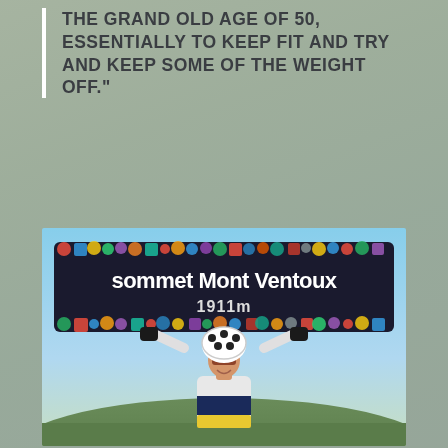THE GRAND OLD AGE OF 50, ESSENTIALLY TO KEEP FIT AND TRY AND KEEP SOME OF THE WEIGHT OFF."
Read more
[Figure (photo): A cyclist wearing a polka-dot helmet and cycling jersey holds up a 'sommet Mont Ventoux 1911m' sign covered in stickers above their head, smiling at the camera with mountains in the background.]